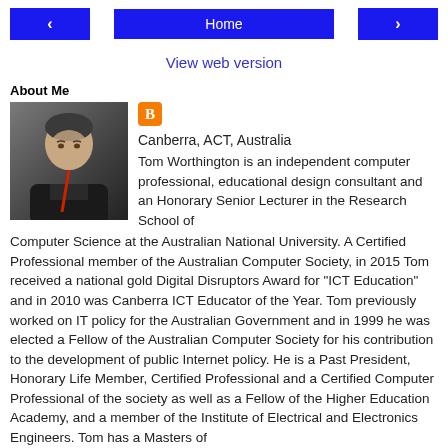< Home >
View web version
About Me
[Figure (photo): Profile photo of Tom Worthington, a man in dark clothing]
Canberra, ACT, Australia
Tom Worthington is an independent computer professional, educational design consultant and an Honorary Senior Lecturer in the Research School of Computer Science at the Australian National University. A Certified Professional member of the Australian Computer Society, in 2015 Tom received a national gold Digital Disruptors Award for "ICT Education" and in 2010 was Canberra ICT Educator of the Year. Tom previously worked on IT policy for the Australian Government and in 1999 he was elected a Fellow of the Australian Computer Society for his contribution to the development of public Internet policy. He is a Past President, Honorary Life Member, Certified Professional and a Certified Computer Professional of the society as well as a Fellow of the Higher Education Academy, and a member of the Institute of Electrical and Electronics Engineers. Tom has a Masters of